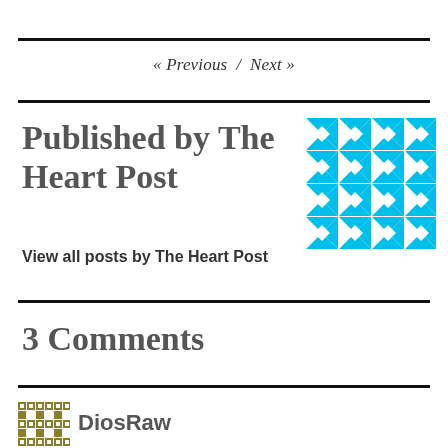« Previous / Next »
Published by The Heart Post
[Figure (logo): Cyan geometric star/diamond quilt pattern logo for The Heart Post]
View all posts by The Heart Post
3 Comments
[Figure (logo): Gold/olive geometric mosaic pattern logo for DiosRaw]
DiosRaw